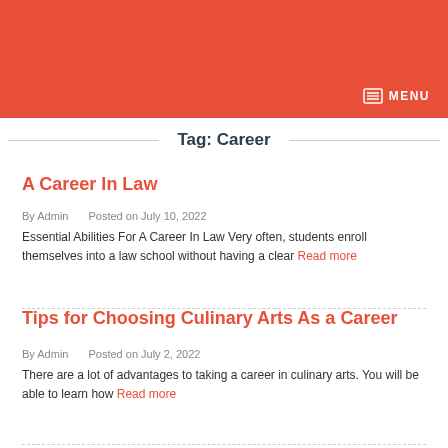[Figure (other): Red/coral header banner with menu icon and MENU text]
Tag: Career
A Career In Law
By Admin   Posted on July 10, 2022
Essential Abilities For A Career In Law Very often, students enroll themselves into a law school without having a clear Read more
Tips for Choosing Culinary Arts As a Career
By Admin   Posted on July 2, 2022
There are a lot of advantages to taking a career in culinary arts. You will be able to learn how Read more